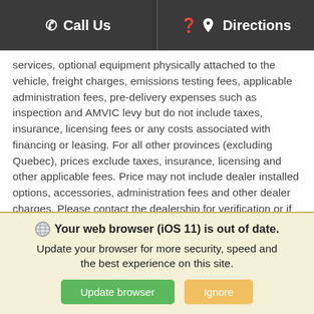Call Us   Directions
services, optional equipment physically attached to the vehicle, freight charges, emissions testing fees, applicable administration fees, pre-delivery expenses such as inspection and AMVIC levy but do not include taxes, insurance, licensing fees or any costs associated with financing or leasing. For all other provinces (excluding Quebec), prices exclude taxes, insurance, licensing and other applicable fees. Price may not include dealer installed options, accessories, administration fees and other dealer charges. Please contact the dealership for verification or if you would like more information on this vehicle. *Fuel consumption ratings and estimates based on GM testing in accordance with Government of Canada approved test methods. Refer to vehicles.nrcan.gc.ca for details. Your actual fuel consumption may vary. 0% interest rate may not be compatible with other offers in regards with cash pricing on new
Your web browser (iOS 11) is out of date. Update your browser for more security, speed and the best experience on this site.
Update browser   Ignore